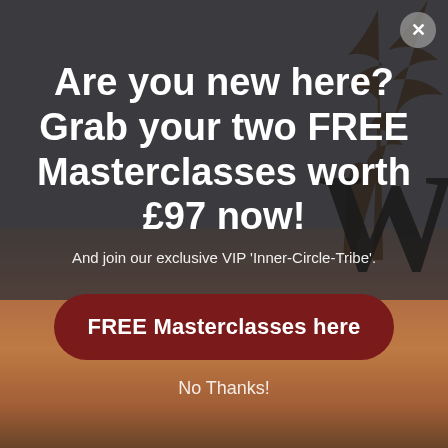[Figure (screenshot): Popup modal overlay with dark grey background and sunset/tree silhouette imagery in background. A large letter W is visible bottom right.]
Are you new here? Grab your two FREE Masterclasses worth £97 now!
And join our exclusive VIP 'Inner-Circle-Tribe'.
FREE Masterclasses here
No Thanks!